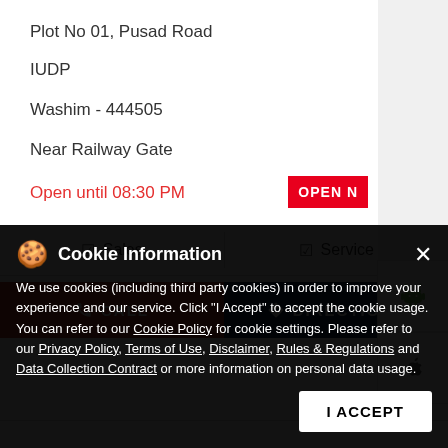Plot No 01, Pusad Road
IUDP
Washim - 444505
Near Railway Gate
Open until 08:30 PM
OPEN N
☑ Sales
☑ Service
CALL
DIRECTIONS
Cookie Information
We use cookies (including third party cookies) in order to improve your experience and our service. Click "I Accept" to accept the cookie usage. You can refer to our Cookie Policy for cookie settings. Please refer to our Privacy Policy, Terms of Use, Disclaimer, Rules & Regulations and Data Collection Contract or more information on personal data usage.
I ACCEPT